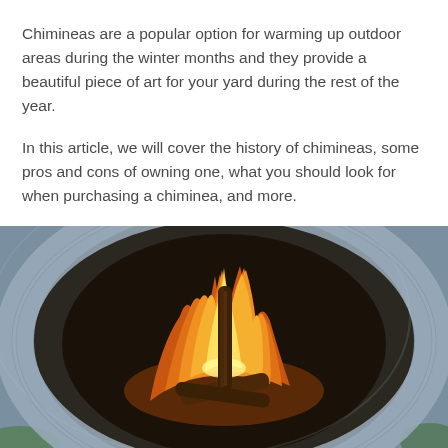Chimineas are a popular option for warming up outdoor areas during the winter months and they provide a beautiful piece of art for your yard during the rest of the year.
In this article, we will cover the history of chimineas, some pros and cons of owning one, what you should look for when purchasing a chiminea, and more.
[Figure (photo): Close-up photograph of a stone or concrete chiminea with burning wood fire visible through the opening. Orange and yellow flames surround dark wooden logs. The chiminea's rounded opening is visible against a blurred outdoor background with hints of green grass.]